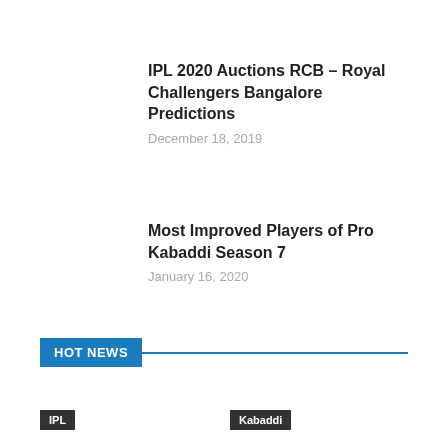IPL 2020 Auctions RCB – Royal Challengers Bangalore Predictions
December 18, 2019
Most Improved Players of Pro Kabaddi Season 7
January 16, 2020
HOT NEWS
IPL
Kabaddi